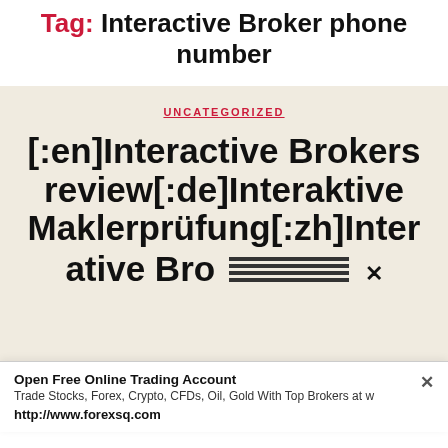Tag: Interactive Broker phone number
UNCATEGORIZED
[:en]Interactive Brokers review[:de]Interaktive Maklerprüfung[:zh]Inter ative Bro...
Open Free Online Trading Account
Trade Stocks, Forex, Crypto, CFDs, Oil, Gold With Top Brokers at w
http://www.forexsq.com